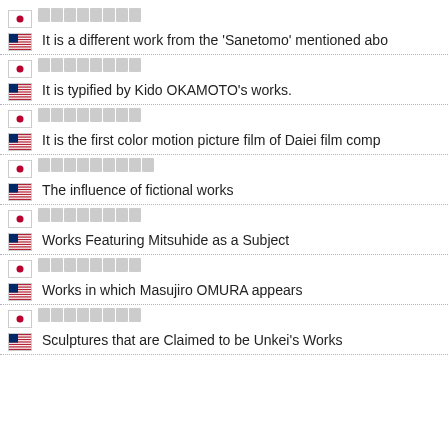Japanese text (boxes) + It is a different work from the 'Sanetomo' mentioned abo...
Japanese text (boxes) + It is typified by Kido OKAMOTO's works.
Japanese text (boxes) + It is the first color motion picture film of Daiei film comp...
Japanese text (boxes) + The influence of fictional works
Japanese text (boxes) + Works Featuring Mitsuhide as a Subject
Japanese text (boxes) + Works in which Masujiro OMURA appears
Japanese text (boxes) + Sculptures that are Claimed to be Unkei's Works